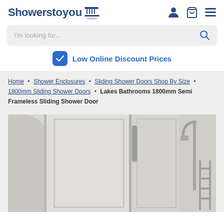Showerstoyou [logo with shower icon] — navigation icons: user, basket, menu
I'm looking for... [search bar]
Low Online Discount Prices
Home • Shower Enclosures • Sliding Shower Doors Shop By Size • 1800mm Sliding Shower Doors • Lakes Bathrooms 1800mm Semi Frameless Sliding Shower Door
[Figure (photo): Photo of a Lakes Bathrooms 1800mm Semi Frameless Sliding Shower Door installed in a bathroom, showing sliding glass panels with silver frame, a shower rail and head, and a towel rail on the right side.]